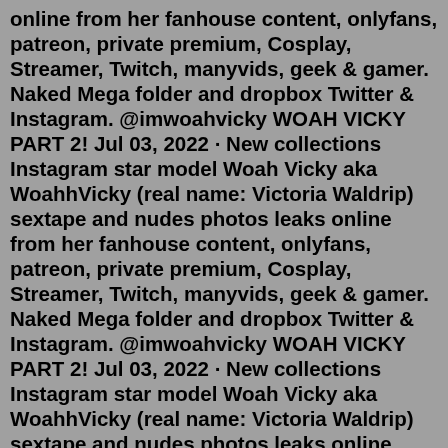online from her fanhouse content, onlyfans, patreon, private premium, Cosplay, Streamer, Twitch, manyvids, geek & gamer. Naked Mega folder and dropbox Twitter & Instagram. @imwoahvicky WOAH VICKY PART 2! Jul 03, 2022 · New collections Instagram star model Woah Vicky aka WoahhVicky (real name: Victoria Waldrip) sextape and nudes photos leaks online from her fanhouse content, onlyfans, patreon, private premium, Cosplay, Streamer, Twitch, manyvids, geek & gamer. Naked Mega folder and dropbox Twitter & Instagram. @imwoahvicky WOAH VICKY PART 2! Jul 03, 2022 · New collections Instagram star model Woah Vicky aka WoahhVicky (real name: Victoria Waldrip) sextape and nudes photos leaks online from her fanhouse content, onlyfans, patreon, private premium, Cosplay, Streamer, Twitch, manyvids, geek & gamer. Naked Mega folder and dropbox Twitter & Instagram. @imwoahvicky WOAH VICKY PART 2! Dec 02, 2019 · Instagram star model Woah Vicky aka WoahhVicky (real name: Victoria Waldrip) sextape